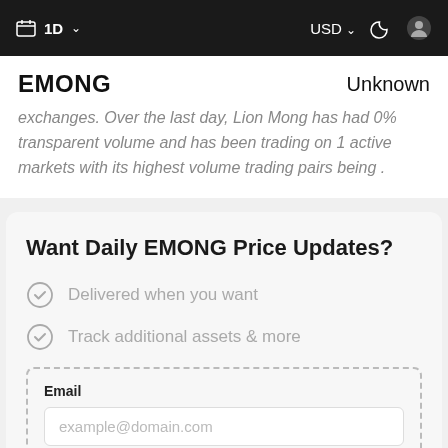1D  USD
EMONG    Unknown
exchanges. Over the last day, Lion Mong has had 0% transparent volume and has been trading on 1 active markets with its highest volume trading pairs being .
Want Daily EMONG Price Updates?
Delivered when you want
Track additional assets & more
Email
example@domain.com